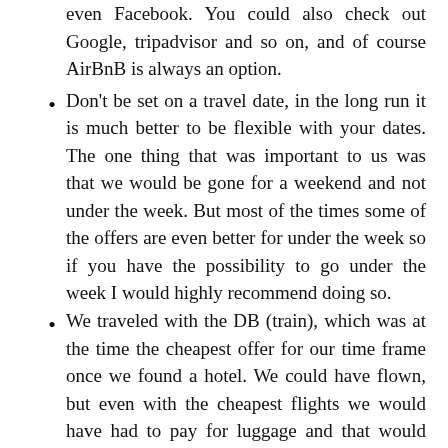even Facebook. You could also check out Google, tripadvisor and so on, and of course AirBnB is always an option.
Don't be set on a travel date, in the long run it is much better to be flexible with your dates. The one thing that was important to us was that we would be gone for a weekend and not under the week. But most of the times some of the offers are even better for under the week so if you have the possibility to go under the week I would highly recommend doing so.
We traveled with the DB (train), which was at the time the cheapest offer for our time frame once we found a hotel. We could have flown, but even with the cheapest flights we would have had to pay for luggage and that would have been a lot more than what we ultimately